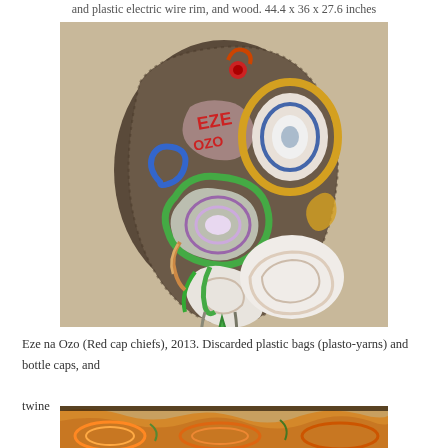and plastic electric wire rim, and wood. 44.4 x 36 x 27.6 inches
[Figure (photo): Colorful woven/knitted artwork made from discarded plastic bags (plasto-yarns) and bottle caps forming a mask-like sculptural piece with swirling colored patterns including red, green, gold, blue, and white against a beige background.]
Eze na Ozo (Red cap chiefs), 2013.  Discarded plastic bags (plasto-yarns) and bottle caps, and twine
[Figure (photo): Partial view of another colorful woven artwork with orange, yellow, and multi-colored swirling patterns, partially cropped at the bottom of the page.]